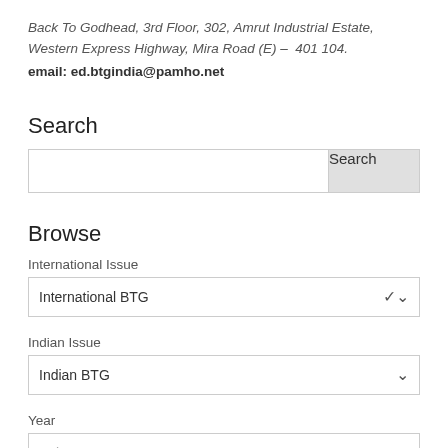Back To Godhead, 3rd Floor, 302, Amrut Industrial Estate, Western Express Highway, Mira Road (E) – 401 104.
email: ed.btgindia@pamho.net
Search
[Search input field with Search button]
Browse
International Issue
International BTG
Indian Issue
Indian BTG
Year